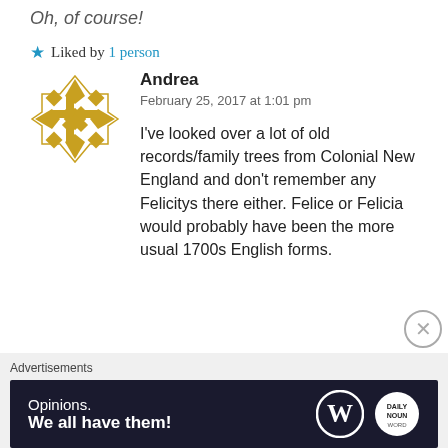Oh, of course!
★ Liked by 1 person
Andrea
February 25, 2017 at 1:01 pm

I've looked over a lot of old records/family trees from Colonial New England and don't remember any Felicitys there either. Felice or Felicia would probably have been the more usual 1700s English forms.
Advertisements
Opinions. We all have them!